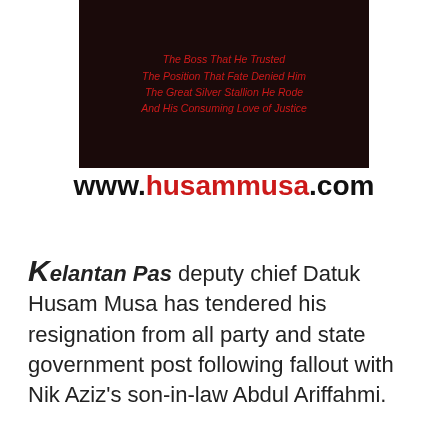[Figure (other): Book or website promotional image with dark background and red italic text lines: 'The Boss That He Trusted / The Position That Fate Denied Him / The Great Silver Stallion He Rode / And His Consuming Love of Justice']
www.husammusa.com
Kelantan Pas deputy chief Datuk Husam Musa has tendered his resignation from all party and state government post following fallout with Nik Aziz's son-in-law Abdul Ariffahmi.